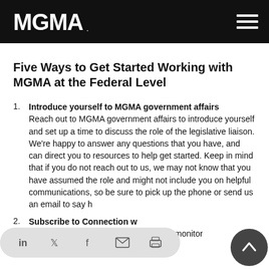MGMA.
Five Ways to Get Started Working with MGMA at the Federal Level
Introduce yourself to MGMA government affairs
Reach out to MGMA government affairs to introduce yourself and set up a time to discuss the role of the legislative liaison. We're happy to answer any questions that you have, and can direct you to resources to help get started. Keep in mind that if you do not reach out to us, we may not know that you have assumed the role and might not include you on helpful communications, so be sure to pick up the phone or send us an email to say h…
Subscribe to… Connection w…
MGMA government affairs staff closely monitor…